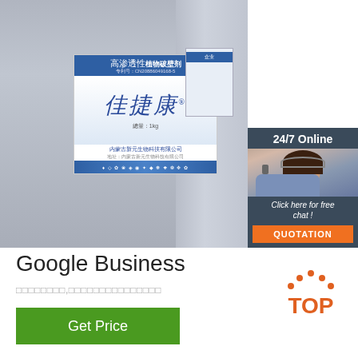[Figure (photo): Product photo showing two large white plastic containers/jugs with Chinese labels reading 高渗透性植物破壁剂 / 佳捷康 / 内蒙古新元生物科技有限公司. A customer service chat widget overlay shows a woman with headset, '24/7 Online', 'Click here for free chat!', and an orange QUOTATION button.]
Google Business
□□□□□□□□,□□□□□□□□□□□□□□□
Get Price
[Figure (logo): Orange TOP logo with dotted arc above the text 'TOP' in orange]